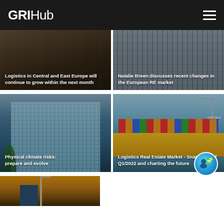GRIHub
[Figure (photo): Logistics warehouse interior with shelving and crates, dark overlay]
Logistics in Central and East Europe will continue to grow within the next month
[Figure (photo): European apartment/residential buildings facade, blue-grey tones]
Natalie Breen discusses recent changes in the European RE market
[Figure (photo): Petronas twin towers with palm trees in foreground, glass facade]
Physical climate risks: prepare and evolve
[Figure (photo): Container ship with colorful shipping containers and crane, Grimaldi text visible, port scene]
Logistics Real Estate Market - Snapshots of Q1/2022 and charting the future
[Figure (photo): Construction cranes at sunset, orange sky]